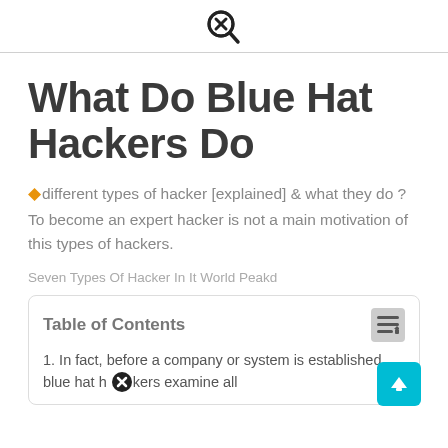[close/search icon]
What Do Blue Hat Hackers Do
different types of hacker [explained] & what they do ? To become an expert hacker is not a main motivation of this types of hackers.
Seven Types Of Hacker In It World Peakd
Table of Contents
1. In fact, before a company or system is established, blue hat hackers examine all